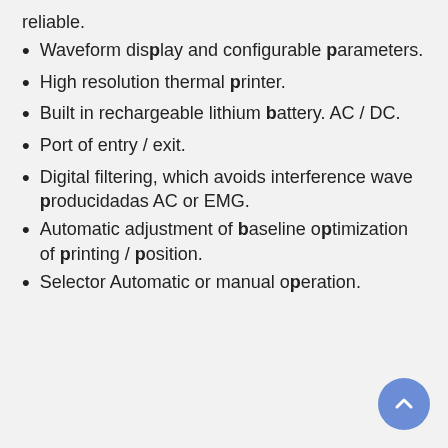reliable.
Waveform display and configurable parameters.
High resolution thermal printer.
Built in rechargeable lithium battery. AC / DC.
Port of entry / exit.
Digital filtering, which avoids interference wave producidadas AC or EMG.
Automatic adjustment of baseline optimization of printing / position.
Selector Automatic or manual operation.